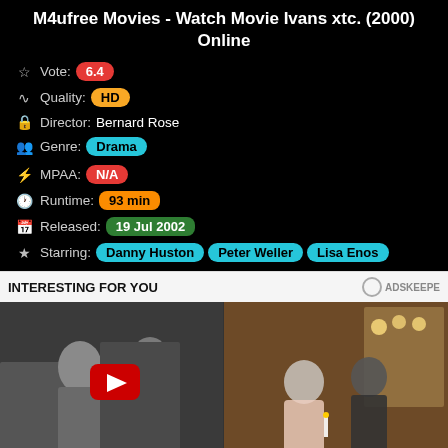M4ufree Movies - Watch Movie Ivans xtc. (2000) Online
Vote: 6.4
Quality: HD
Director: Bernard Rose
Genre: Drama
MPAA: N/A
Runtime: 93 min
Released: 19 Jul 2002
Starring: Danny Huston  Peter Weller  Lisa Enos
INTERESTING FOR YOU
[Figure (photo): Celebrity couple on street, YouTube play button overlay]
[Figure (photo): Couple at candlelit table in formal setting]
Is Pete Davidson's 'Big Energy' The Secret To His Sex Appeal?
7 Most Startling Movie Moments We Didn't Realize Were Insensitive